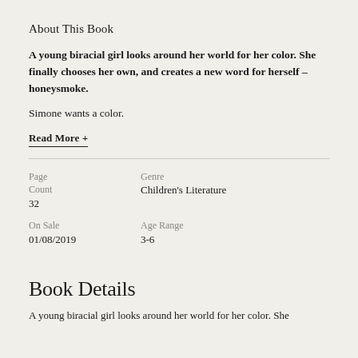About This Book
A young biracial girl looks around her world for her color. She finally chooses her own, and creates a new word for herself – honeysmoke.
Simone wants a color.
Read More +
| Page Count | Genre |
| --- | --- |
| 32 | Children's Literature |
| On Sale | Age Range |
| --- | --- |
| 01/08/2019 | 3-6 |
Book Details
A young biracial girl looks around her world for her color. She